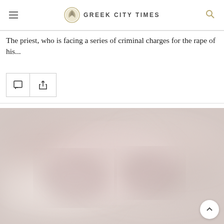GREEK CITY TIMES
The priest, who is facing a series of criminal charges for the rape of his...
[Figure (photo): Blurred/redacted photograph, light pinkish-grey tones, indistinct subject matter]